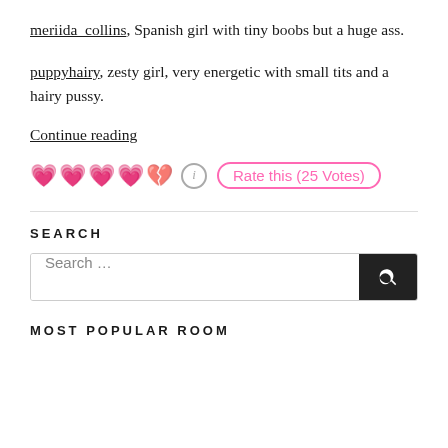meriida_collins, Spanish girl with tiny boobs but a huge ass.
puppyhairy, zesty girl, very energetic with small tits and a hairy pussy.
Continue reading
💗💗💗💗💔ℹ️ Rate this (25 Votes)
SEARCH
Search …
MOST POPULAR ROOM